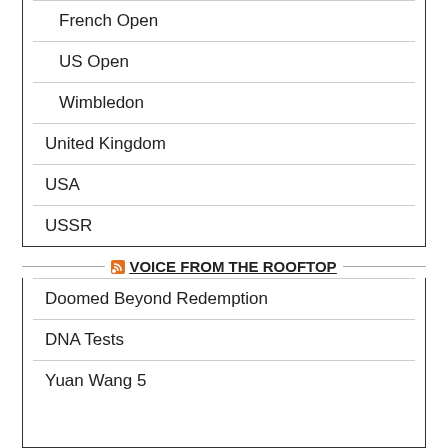French Open
US Open
Wimbledon
United Kingdom
USA
USSR
VOICE FROM THE ROOFTOP
Doomed Beyond Redemption
DNA Tests
Yuan Wang 5